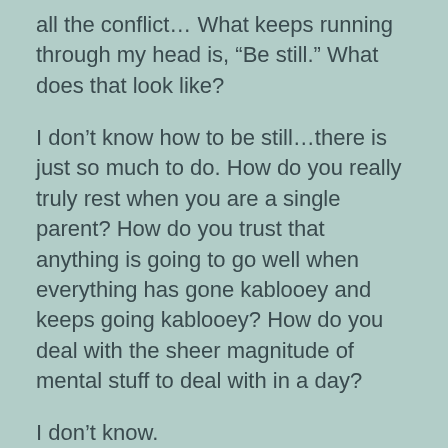all the conflict…  What keeps running through my head is, “Be still.”  What does that look like?
I don’t know how to be still…there is just so much to do.  How do you really truly rest when you are a single parent?  How do you trust that anything is going to go well when everything has gone kablooey and keeps going kablooey?  How do you deal with the sheer magnitude of mental stuff to deal with in a day?
I don’t know.
I was hoping you did.